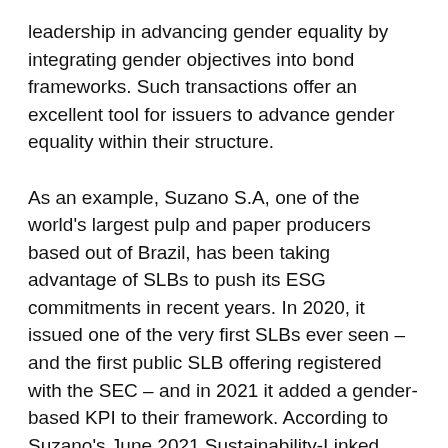leadership in advancing gender equality by integrating gender objectives into bond frameworks. Such transactions offer an excellent tool for issuers to advance gender equality within their structure.
As an example, Suzano S.A, one of the world's largest pulp and paper producers based out of Brazil, has been taking advantage of SLBs to push its ESG commitments in recent years. In 2020, it issued one of the very first SLBs ever seen – and the first public SLB offering registered with the SEC – and in 2021 it added a gender-based KPI to their framework. According to Suzano's June 2021 Sustainability-Linked Securities Framework, one of its sustainability strategy's priorities is to have 30%